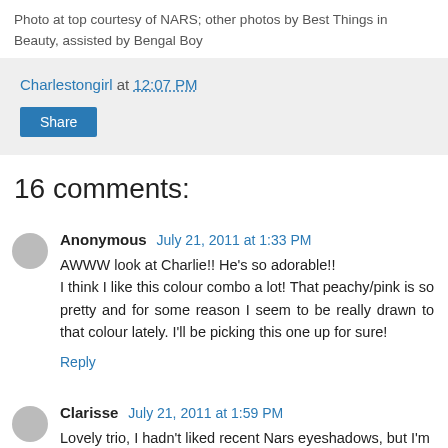Photo at top courtesy of NARS; other photos by Best Things in Beauty, assisted by Bengal Boy
Charlestongirl at 12:07 PM
Share
16 comments:
Anonymous July 21, 2011 at 1:33 PM
AWWW look at Charlie!! He's so adorable!! I think I like this colour combo a lot! That peachy/pink is so pretty and for some reason I seem to be really drawn to that colour lately. I'll be picking this one up for sure!
Reply
Clarisse July 21, 2011 at 1:59 PM
Lovely trio, I hadn't liked recent Nars eyeshadows, but I'm